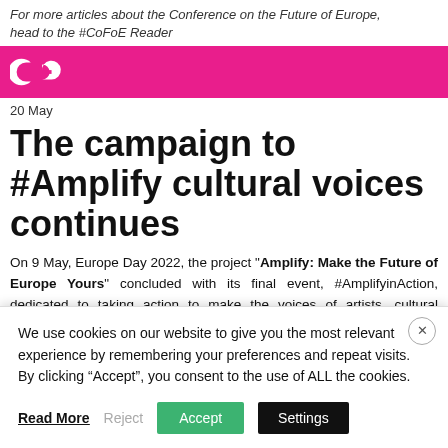For more articles about the Conference on the Future of Europe, head to the #CoFoE Reader
[Figure (logo): CE logo in white on pink background]
20 May
The campaign to #Amplify cultural voices continues
On 9 May, Europe Day 2022, the project “Amplify: Make the Future of Europe Yours” concluded with its final event, #AmplifyinAction, dedicated to taking action to make the voices of artists, cultural workers, activists and community leaders heard by decision-makers across Europe. Both in-person and live-streamed, this full
We use cookies on our website to give you the most relevant experience by remembering your preferences and repeat visits. By clicking “Accept”, you consent to the use of ALL the cookies.
Read More   Reject   Accept   Settings